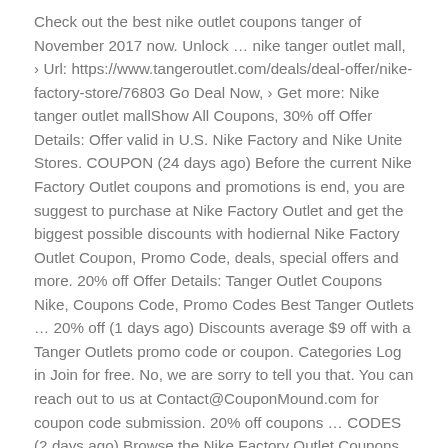Check out the best nike outlet coupons tanger of November 2017 now. Unlock … nike tanger outlet mall, › Url: https://www.tangeroutlet.com/deals/deal-offer/nike-factory-store/76803 Go Deal Now, › Get more: Nike tanger outlet mallShow All Coupons, 30% off Offer Details: Offer valid in U.S. Nike Factory and Nike Unite Stores. COUPON (24 days ago) Before the current Nike Factory Outlet coupons and promotions is end, you are suggest to purchase at Nike Factory Outlet and get the biggest possible discounts with hodiernal Nike Factory Outlet Coupon, Promo Code, deals, special offers and more. 20% off Offer Details: Tanger Outlet Coupons Nike, Coupons Code, Promo Codes Best Tanger Outlets … 20% off (1 days ago) Discounts average $9 off with a Tanger Outlets promo code or coupon. Categories Log in Join for free. No, we are sorry to tell you that. You can reach out to us at Contact@CouponMound.com for coupon code submission. 20% off coupons … CODES (2 days ago) Browse the Nike Factory Outlet Coupons In Store list, choose one of coupons, and then open it to copy. Nike Factory: If you're looking for Instagram-worthy merchandise but are on a budget, Nike … Does anyone have one of these that can share if it is worth the time to get one? Arizona, Phoenix/Glendale. Sale.